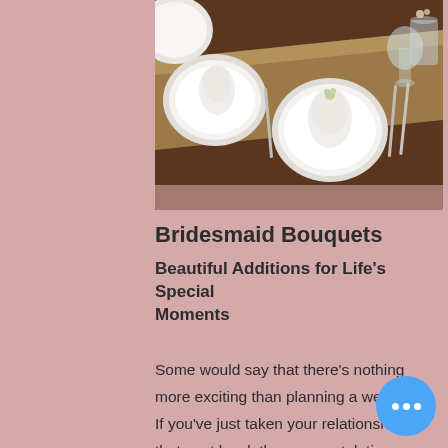[Figure (photo): A wedding table setting with white plates, folded napkins, silverware, and glassware on a rustic wooden table with a burlap runner.]
Bridesmaid Bouquets
Beautiful Additions for Life's Special Moments
Some would say that there's nothing more exciting than planning a wedding. If you've just taken your relationship to that next level, then congratulations — it's time to plan for the big day! At Blooms By Marie, we have a vari… floral arrangements that are perfect for…